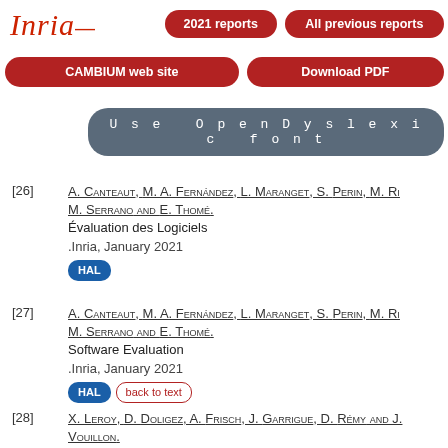[Figure (logo): Inria logo in red italic script]
2021 reports
All previous reports
CAMBIUM web site
Download PDF
Use OpenDyslexic font
[26] A. Canteaut, M. A. Fernández, L. Maranget, S. Perin, M. Ri..., M. Serrano and E. Thomé. Évaluation des Logiciels .Inria, January 2021 HAL
[27] A. Canteaut, M. A. Fernández, L. Maranget, S. Perin, M. Ri..., M. Serrano and E. Thomé. Software Evaluation .Inria, January 2021 HAL back to text
[28] X. Leroy, D. Doligez, A. Frisch, J. Garrigue, D. Rémy and J. Vouillon.